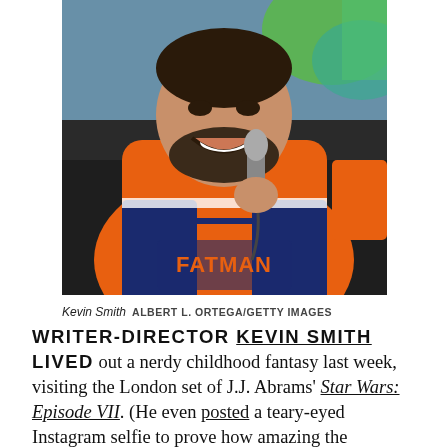[Figure (photo): Kevin Smith, a bearded man smiling broadly, wearing an orange and blue hockey jersey with 'FATMAN' on it, holding a microphone. Background shows a colorful projected image.]
Kevin Smith  ALBERT L. ORTEGA/GETTY IMAGES
WRITER-DIRECTOR KEVIN SMITH LIVED out a nerdy childhood fantasy last week, visiting the London set of J.J. Abrams' Star Wars: Episode VII. (He even posted a teary-eyed Instagram selfie to prove how amazing the experience was.) As The Hollywood